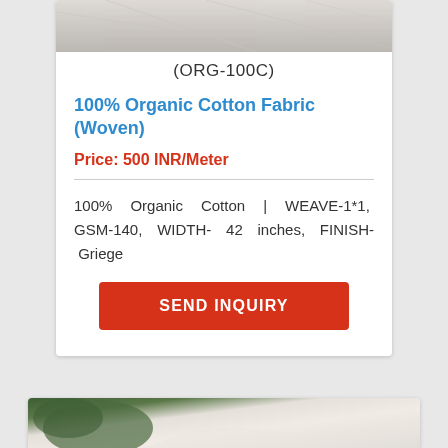[Figure (photo): Top portion of white/cream organic cotton fabric texture, cropped at top]
(ORG-100C)
100% Organic Cotton Fabric (Woven)
Price: 500 INR/Meter
100%  Organic  Cotton  |  WEAVE-1*1,  GSM-140, WIDTH- 42 inches, FINISH- Griege
[Figure (other): SEND INQUIRY button (red/orange rectangle with white text)]
[Figure (photo): Bottom card showing organic cotton fabric draped near green plant, partially visible]